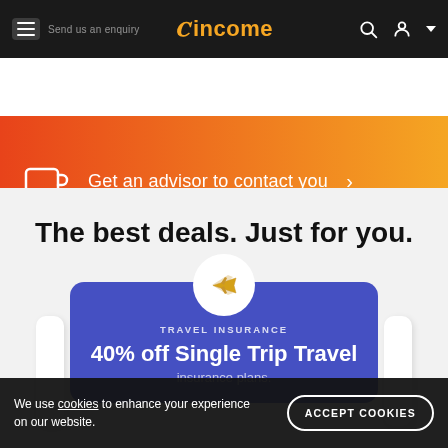Send us an enquiry | income (logo) | search | account
[Figure (screenshot): Orange-to-yellow gradient banner with coffee cup icon and text: Get an advisor to contact you >]
The best deals. Just for you.
[Figure (illustration): Blue rounded card with white circle containing a gold airplane icon. Label: TRAVEL INSURANCE. Heading: 40% off Single Trip Travel [insurance plans]. Side peek cards visible on left and right.]
We use cookies to enhance your experience on our website.
ACCEPT COOKIES